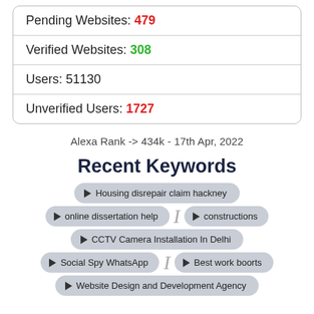| Pending Websites: 479 |
| Verified Websites: 308 |
| Users: 51130 |
| Unverified Users: 1727 |
Alexa Rank -> 434k - 17th Apr, 2022
Recent Keywords
Housing disrepair claim hackney
online dissertation help
constructions
CCTV Camera Installation In Delhi
Social Spy WhatsApp
Best work boorts
Website Design and Development Agency